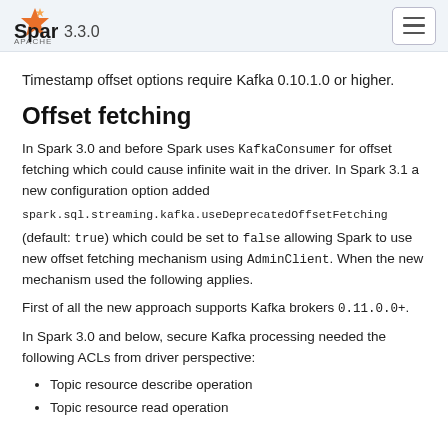Apache Spark 3.3.0
Timestamp offset options require Kafka 0.10.1.0 or higher.
Offset fetching
In Spark 3.0 and before Spark uses KafkaConsumer for offset fetching which could cause infinite wait in the driver. In Spark 3.1 a new configuration option added spark.sql.streaming.kafka.useDeprecatedOffsetFetching (default: true) which could be set to false allowing Spark to use new offset fetching mechanism using AdminClient. When the new mechanism used the following applies.
First of all the new approach supports Kafka brokers 0.11.0.0+.
In Spark 3.0 and below, secure Kafka processing needed the following ACLs from driver perspective:
Topic resource describe operation
Topic resource read operation